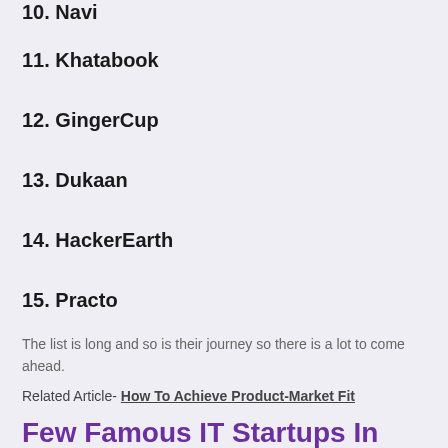10. Navi
11. Khatabook
12. GingerCup
13. Dukaan
14. HackerEarth
15. Practo
The list is long and so is their journey so there is a lot to come ahead.
Related Article- How To Achieve Product-Market Fit
Few Famous IT Startups In